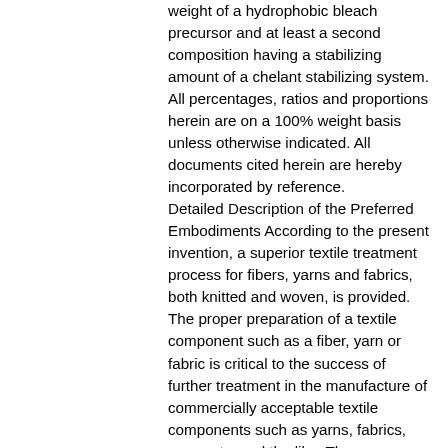weight of a hydrophobic bleach precursor and at least a second composition having a stabilizing amount of a chelant stabilizing system.
All percentages, ratios and proportions herein are on a 100% weight basis unless otherwise indicated. All documents cited herein are hereby incorporated by reference.
Detailed Description of the Preferred Embodiments According to the present invention, a superior textile treatment process for fibers, yarns and fabrics, both knitted and woven, is provided. The proper preparation of a textile component such as a fiber, yarn or fabric is critical to the success of further treatment in the manufacture of commercially acceptable textile components such as yarns, fabrics, garments, and the like. These treatment steps include dyeing, printing and/or additional steps finishing such as application of durable press finishes. Uneven color appearance or impurities such as waxes or oils on the surface of the textile prevent the uniform application of many treatments. Present commercial textile preparation methods, and, in particular, textile bleaching methods, remain unsatisfactory due to the fiber and fabric